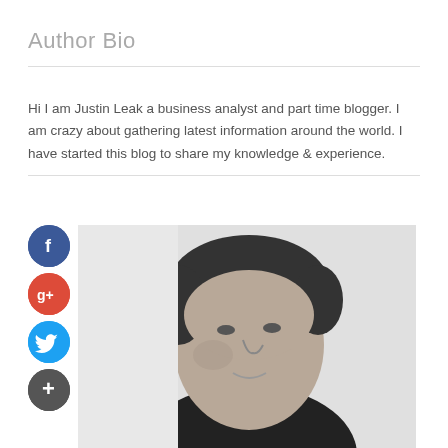Author Bio
Hi I am Justin Leak a business analyst and part time blogger. I am crazy about gathering latest information around the world. I have started this blog to share my knowledge & experience.
[Figure (photo): Black and white portrait photo of a middle-aged man with curly hair, looking slightly downward and to the right, with a neutral/slight smile expression.]